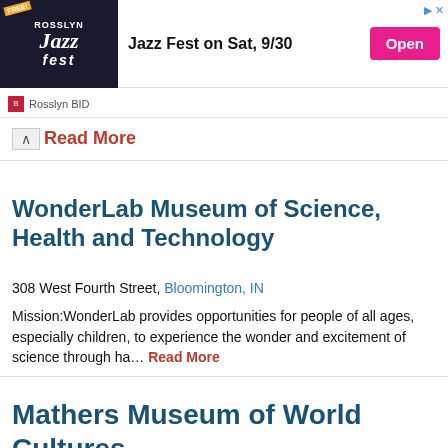[Figure (screenshot): Advertisement banner for Rosslyn Jazz Fest on Sat, 9/30 with Open button and Rosslyn BID logo]
Read More
WonderLab Museum of Science, Health and Technology
308 West Fourth Street, Bloomington, IN
Mission:WonderLab provides opportunities for people of all ages, especially children, to experience the wonder and excitement of science through ha… Read More
Mathers Museum of World Cultures